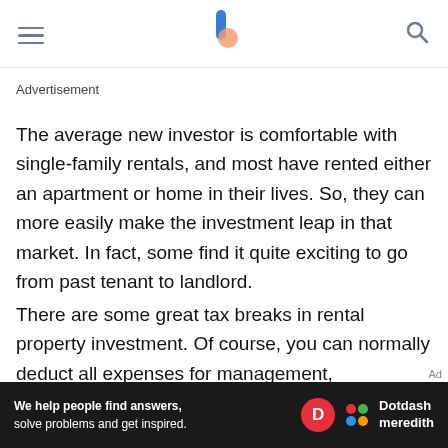[hamburger menu] [logo] [search icon]
Advertisement
The average new investor is comfortable with single-family rentals, and most have rented either an apartment or home in their lives. So, they can more easily make the investment leap in that market. In fact, some find it quite exciting to go from past tenant to landlord.
There are some great tax breaks in rental property investment. Of course, you can normally deduct all expenses for management, advertising, maintenance,
[Figure (other): Dotdash Meredith advertisement banner with text 'We help people find answers, solve problems and get inspired.' and Dotdash Meredith logo with colorful dots icon]